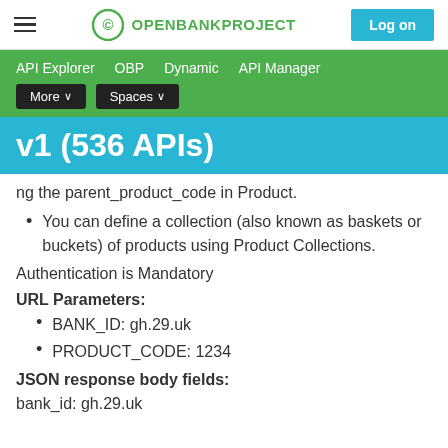OPENBANKPROJECT — Log on
API Explorer   OBP   Dynamic   API Manager   More ∨   Spaces ∨
v1 (536 APIs)
ng the parent_product_code in Product.
You can define a collection (also known as baskets or buckets) of products using Product Collections.
Authentication is Mandatory
URL Parameters:
BANK_ID: gh.29.uk
PRODUCT_CODE: 1234
JSON response body fields:
bank_id: gh.29.uk